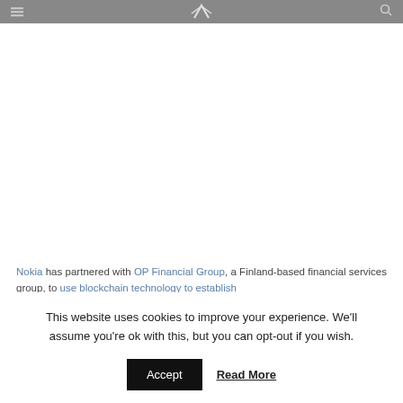[Nokia logo / navigation header]
Nokia has partnered with OP Financial Group, a Finland-based financial services group, to use blockchain technology to establish
This website uses cookies to improve your experience. We'll assume you're ok with this, but you can opt-out if you wish.
Accept | Read More